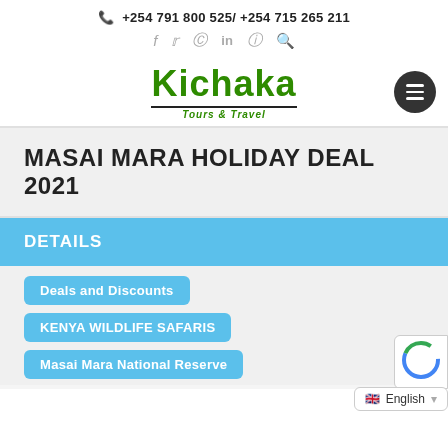📞 +254 791 800 525/ +254 715 265 211
[Figure (logo): Kichaka Tours & Travel logo with social media icons (f, twitter, pinterest, in, instagram, search)]
MASAI MARA HOLIDAY DEAL 2021
DETAILS
Deals and Discounts
KENYA WILDLIFE SAFARIS
Masai Mara National Reserve